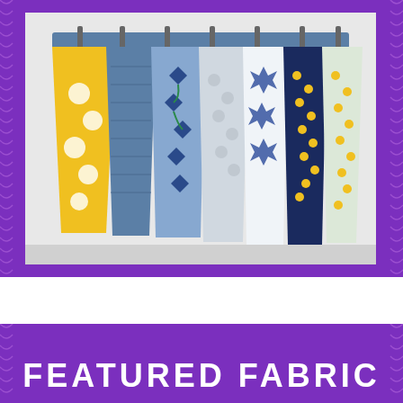[Figure (photo): Seven patterned fabric kitchen towels hanging from a blue wooden rack mounted on a white wall. Fabrics feature floral and geometric patterns in yellow, blue, white, and navy colorways.]
FEATURED FABRIC